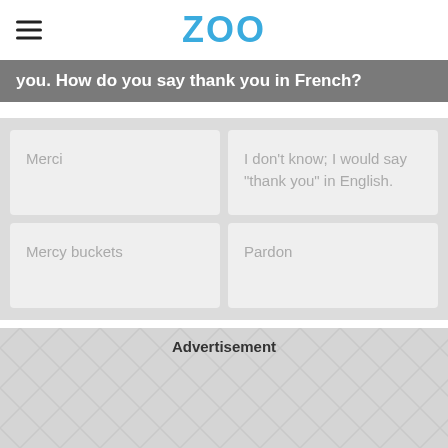ZOO
you. How do you say thank you in French?
Merci
I don't know; I would say "thank you" in English.
Mercy buckets
Pardon
Advertisement